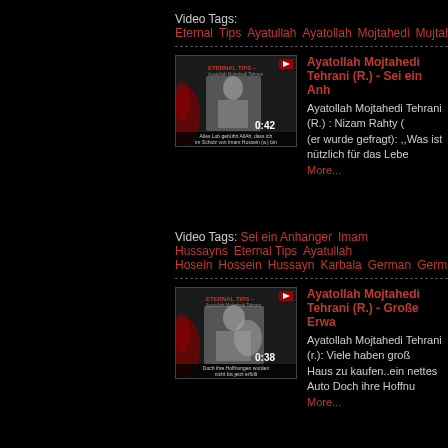Video Tags: Eternal Tips Ayatullah Ayatollah Mojtahedi Mujtahedi
[Figure (screenshot): Video thumbnail for Ayatollah Mojtahedi Tehrani (R.) - Sei ein Anhanger... showing ETERNAL TIPS logo and grayscale image of person, duration 0:42]
Ayatollah Mojtahedi Tehrani (R.) - Sei ein Anh...
Ayatollah Mojtahedi Tehrani (R.) : Nizam Rahty (er wurde gefragt): ,,Was ist nützlich für das Lebe... More...
Video Tags: Sei ein Anhanger Imam Hussayns Eternal Tips Ayatullah ... Hosein Hossein Hussayn Karbala German Germany
[Figure (screenshot): Video thumbnail for Ayatollah Mojtahedi Tehrani (R.) - Große Erwa... showing ETERNAL TIPS logo and grayscale image, duration 0:38]
Ayatollah Mojtahedi Tehrani (R.) - Große Erwa...
Ayatollah Mojtahedi Tehrani (r.): Viele haben groß... Haus zu kaufen..ein nettes Auto Doch ihre Hoffnu... More...